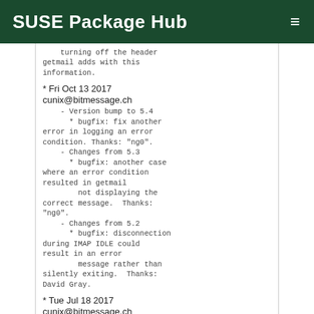SUSE Package Hub
turning off the header getmail adds with this information.
* Fri Oct 13 2017 cunix@bitmessage.ch
    - Version bump to 5.4
      * bugfix: fix another error in logging an error condition. Thanks: "ng0".
    - Changes from 5.3
      * bugfix: another case where an error condition resulted in getmail
          not displaying the correct message.  Thanks: "ng0".
    - Changes from 5.2
      * bugfix: disconnection during IMAP IDLE could result in an error
          message rather than silently exiting.  Thanks: David Gray.
* Tue Jul 18 2017 cunix@bitmessage.ch
    - Version bump to 5.1
      * bugfix: if password_command parameter was used with a non-existent
          program, getmail would error out during the